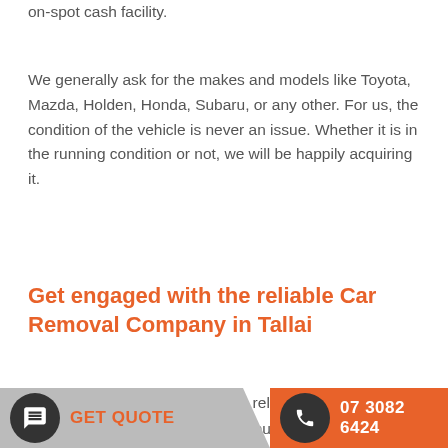on-spot cash facility.
We generally ask for the makes and models like Toyota, Mazda, Holden, Honda, Subaru, or any other. For us, the condition of the vehicle is never an issue. Whether it is in the running condition or not, we will be happily acquiring it.
Get engaged with the reliable Car Removal Company in Tallai
We have emerged as one of the reliable auto wreckers company who pays out the maximum amount of money for the vehicles. Scrap Car Collection Tallai even keeps the environmental norms and standards in mind. We even deal with the vehicles irrespective of whether it is wrecked, damaged, scraped, junked...